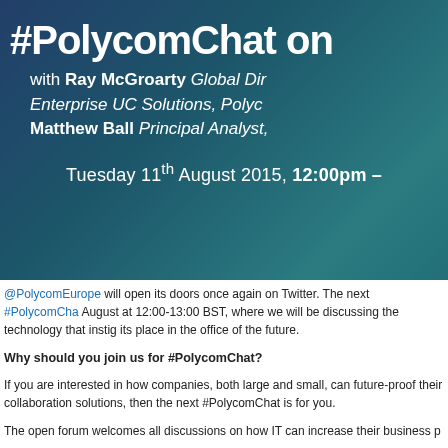[Figure (infographic): Banner image with teal/blue gradient background overlaying machinery photo. Contains large white bold text '#PolycomChat on' as title, subtitle lines with 'with Ray McGroarty Global Dir... Enterprise UC Solutions, Polyc... Matthew Ball Principal Analyst,' and date line 'Tuesday 11th August 2015, 12:00pm –']
@PolycomEurope will open its doors once again on Twitter. The next #PolycomCha... August at 12:00-13:00 BST, where we will be discussing the technology that instig... its place in the office of the future.
Why should you join us for #PolycomChat?
If you are interested in how companies, both large and small, can future-proof their... collaboration solutions, then the next #PolycomChat is for you.
The open forum welcomes all discussions on how IT can increase their business p...